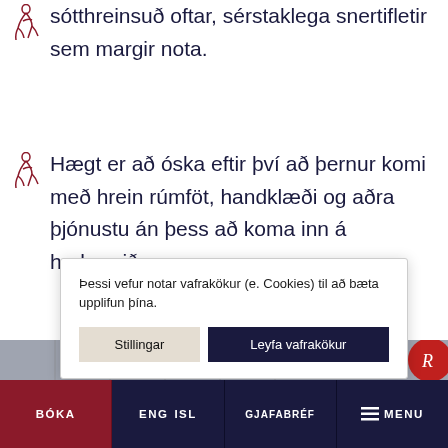sótthreinsuð oftar, sérstaklega snertifletir sem margir nota.
Hægt er að óska eftir því að þernur komi með hrein rúmföt, handklæði og aðra þjónustu án þess að koma inn á herbergið.
Þessi vefur notar vafrakökur (e. Cookies) til að bæta upplifun þína.
Stillingar   Leyfa vafrakökur
[Figure (photo): Grey/blue paneled wall background with red circle logo containing stylized R letter]
BÓKA   ENG  ISL   GJAFABRÉF   MENU